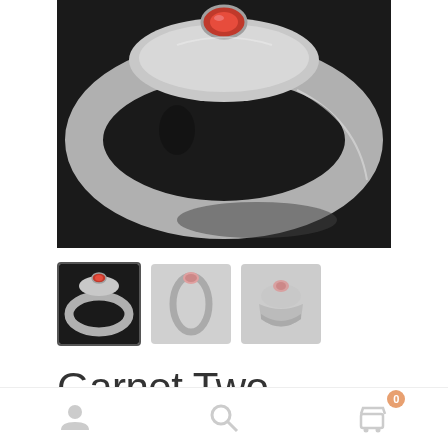[Figure (photo): Close-up photo of a silver ring with a red garnet stone set in a bezel, photographed on a dark background]
[Figure (photo): Thumbnail 1: silver ring with red garnet stone, dark background, selected/active state]
[Figure (photo): Thumbnail 2: silver ring side view on white/light background]
[Figure (photo): Thumbnail 3: silver ring front view on light background]
Garnet Two Rivers Ring
[Figure (other): Bottom navigation bar with user profile icon, search icon, and shopping cart icon with badge showing 0]